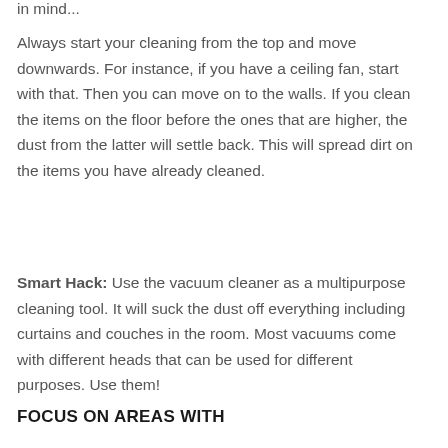Always start your cleaning from the top and move downwards. For instance, if you have a ceiling fan, start with that. Then you can move on to the walls. If you clean the items on the floor before the ones that are higher, the dust from the latter will settle back. This will spread dirt on the items you have already cleaned.
Smart Hack: Use the vacuum cleaner as a multipurpose cleaning tool. It will suck the dust off everything including curtains and couches in the room. Most vacuums come with different heads that can be used for different purposes. Use them!
FOCUS ON AREAS WITH